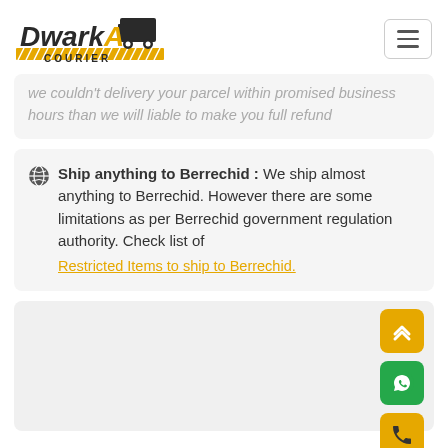[Figure (logo): Dwarka Courier logo with truck icon and yellow diagonal stripe, company name in bold italic font]
we couldn't delivery your parcel within promised business hours than we will liable to make you full refund
Ship anything to Berrechid : We ship almost anything to Berrechid. However there are some limitations as per Berrechid government regulation authority. Check list of Restricted Items to ship to Berrechid.
[Figure (screenshot): Bottom gray area with three floating action buttons: yellow up-arrow button, green WhatsApp button, yellow phone button]